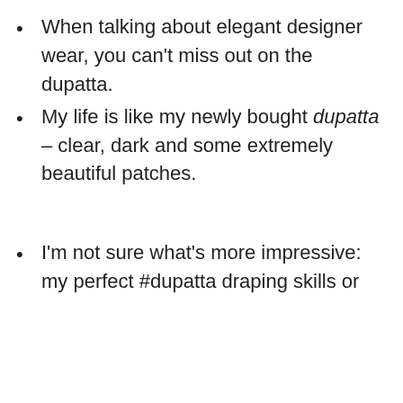When talking about elegant designer wear, you can't miss out on the dupatta.
My life is like my newly bought dupatta – clear, dark and some extremely beautiful patches.
I'm not sure what's more impressive: my perfect #dupatta draping skills or